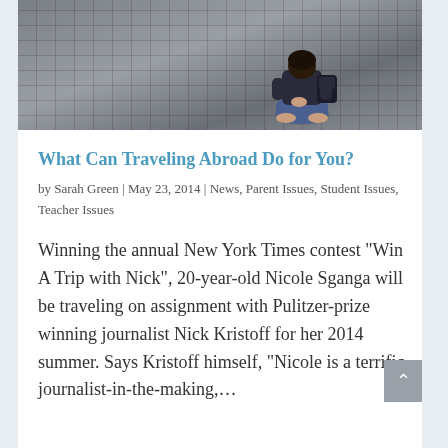[Figure (photo): A person sitting on cobblestone ground photographed from behind, wearing jeans and a dark top, with a backpack nearby.]
What Can Traveling Abroad Do for You?
by Sarah Green | May 23, 2014 | News, Parent Issues, Student Issues, Teacher Issues
Winning the annual New York Times contest “Win A Trip with Nick”, 20-year-old Nicole Sganga will be traveling on assignment with Pulitzer-prize winning journalist Nick Kristoff for her 2014 summer. Says Kristoff himself, “Nicole is a terrific journalist-in-the-making,…